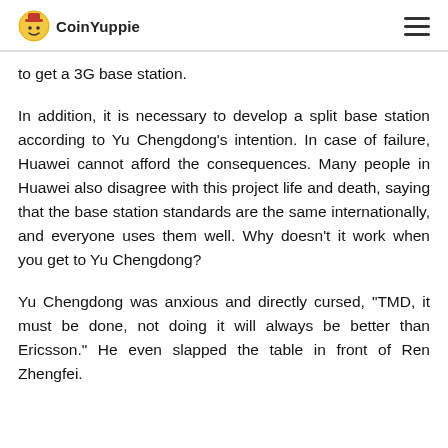CoinYuppie
to get a 3G base station.
In addition, it is necessary to develop a split base station according to Yu Chengdong’s intention. In case of failure, Huawei cannot afford the consequences. Many people in Huawei also disagree with this project life and death, saying that the base station standards are the same internationally, and everyone uses them well. Why doesn’t it work when you get to Yu Chengdong?
Yu Chengdong was anxious and directly cursed, “TMD, it must be done, not doing it will always be better than Ericsson.” He even slapped the table in front of Ren Zhengfei.